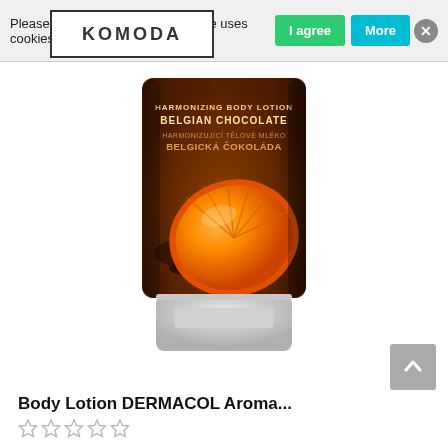Please note that this email the store uses cookies.
[Figure (photo): Product tube of Dermacol Harmonizing Body Lotion Belgian Chocolate / Belgická Čokoláda with an orange slice image on dark chocolate background, white cap]
Body Lotion DERMACOL Aroma...
☆☆☆☆☆